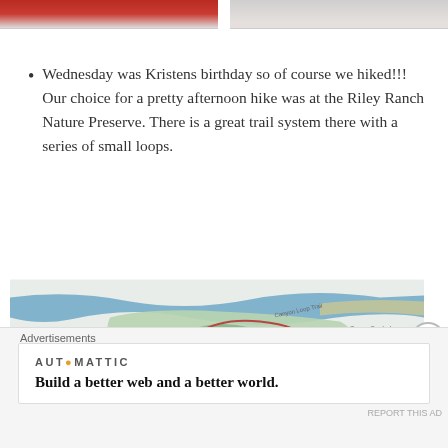[Figure (photo): Two cropped photos at top: left shows red fabric/food item, right shows a light-colored surface with spots]
Wednesday was Kristens birthday so of course we hiked!!! Our choice for a pretty afternoon hike was at the Riley Ranch Nature Preserve. There is a great trail system there with a series of small loops.
[Figure (map): Trail map of Riley Ranch Nature Preserve showing blue river/water, green terrain, red trail loops, orange triangle marker, and labeled trails including Canyon Loop Trail]
Advertisements
[Figure (other): Advertisement by Automattic: Build a better web and a better world.]